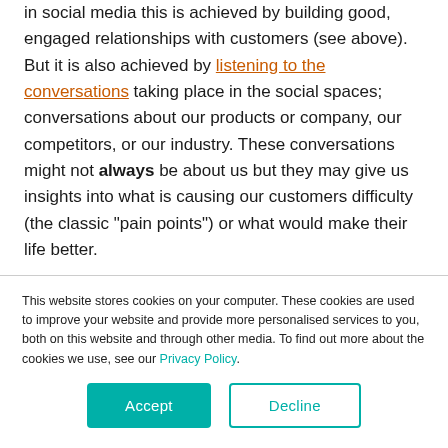in social media this is achieved by building good, engaged relationships with customers (see above). But it is also achieved by listening to the conversations taking place in the social spaces; conversations about our products or company, our competitors, or our industry. These conversations might not always be about us but they may give us insights into what is causing our customers difficulty (the classic "pain points") or what would make their life better.
Grow
It is through all of the efforts described above that social
This website stores cookies on your computer. These cookies are used to improve your website and provide more personalised services to you, both on this website and through other media. To find out more about the cookies we use, see our Privacy Policy.